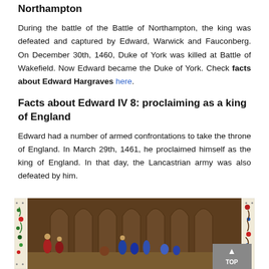Northampton
During the battle of the Battle of Northampton, the king was defeated and captured by Edward, Warwick and Fauconberg. On December 30th, 1460, Duke of York was killed at Battle of Wakefield. Now Edward became the Duke of York. Check facts about Edward Hargraves here.
Facts about Edward IV 8: proclaiming as a king of England
Edward had a number of armed confrontations to take the throne of England. In March 29th, 1461, he proclaimed himself as the king of England. In that day, the Lancastrian army was also defeated by him.
[Figure (illustration): Medieval illuminated manuscript illustration showing figures in a Gothic architectural interior with decorative floral border on left and right sides. Several robed figures appear inside an arched hall. A 'TOP' button overlay appears in bottom right corner.]